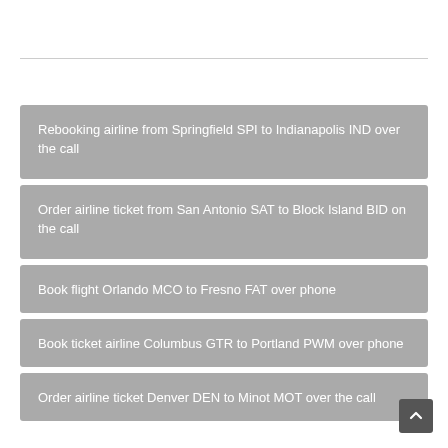Rebooking airline from Springfield SPI to Indianapolis IND over the call
Order airline ticket from San Antonio SAT to Block Island BID on the call
Book flight Orlando MCO to Fresno FAT over phone
Book ticket airline Columbus GTR to Portland PWM over phone
Order airline ticket Denver DEN to Minot MOT over the call